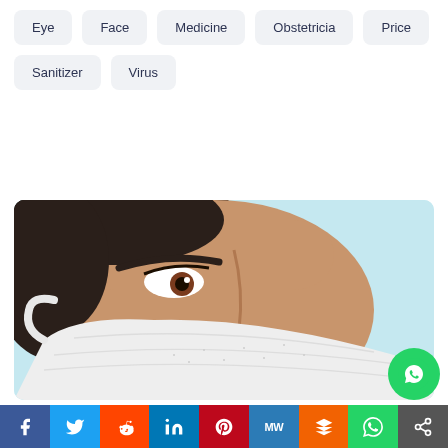Eye
Face
Medicine
Obstetricia
Price
Sanitizer
Virus
[Figure (photo): Side profile of a woman wearing a white N95/KN95 face mask against a light blue background, looking upward. Only the upper face and mask are visible.]
f  Twitter  Reddit  in  Pinterest  MW  Mix  WhatsApp  Share